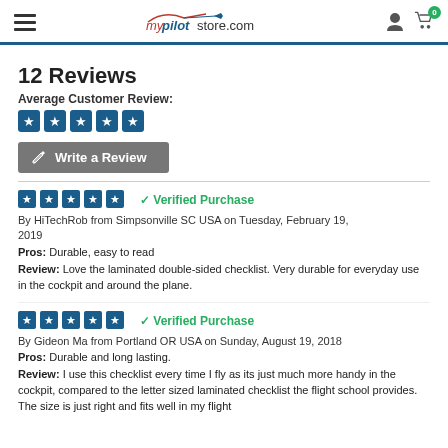mypilotstore.com
12 Reviews
Average Customer Review:
Write a Review
Verified Purchase — By HiTechRob from Simpsonville SC USA on Tuesday, February 19, 2019. Pros: Durable, easy to read. Review: Love the laminated double-sided checklist. Very durable for everyday use in the cockpit and around the plane.
Verified Purchase — By Gideon Ma from Portland OR USA on Sunday, August 19, 2018. Pros: Durable and long lasting. Review: I use this checklist every time I fly as its just much more handy in the cockpit, compared to the letter sized laminated checklist the flight school provides. The size is just right and fits well in my flight bag.